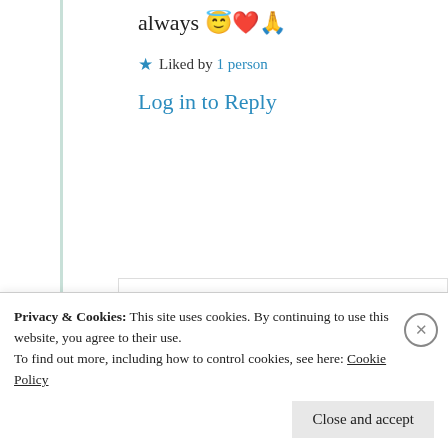always 😇❤️🙏
★ Liked by 1 person
Log in to Reply
Cindy Georgakas
7th Jul 2021 at 4:07 pm
Privacy & Cookies: This site uses cookies. By continuing to use this website, you agree to their use.
To find out more, including how to control cookies, see here: Cookie Policy
Close and accept